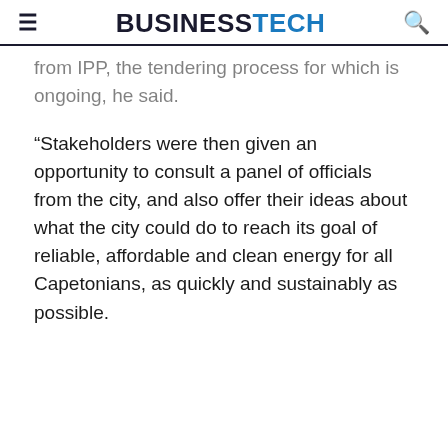≡  BUSINESSTECH  🔍
from IPP, the tendering process for which is ongoing, he said.
“Stakeholders were then given an opportunity to consult a panel of officials from the city, and also offer their ideas about what the city could do to reach its goal of reliable, affordable and clean energy for all Capetonians, as quickly and sustainably as possible.